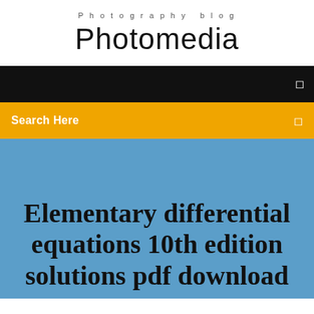Photography blog
Photomedia
Search Here
Elementary differential equations 10th edition solutions pdf download